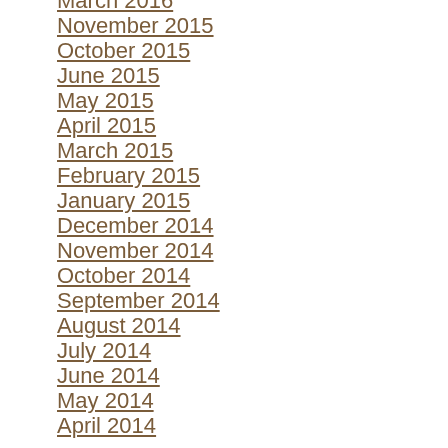March 2016
November 2015
October 2015
June 2015
May 2015
April 2015
March 2015
February 2015
January 2015
December 2014
November 2014
October 2014
September 2014
August 2014
July 2014
June 2014
May 2014
April 2014